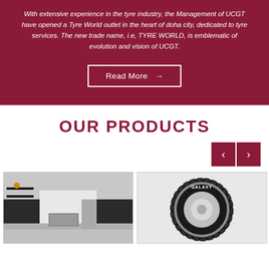With extensive experience in the tyre industry, the Management of UCGT have opened a Tyre World outlet in the heart of doha city, dedicated to tyre services. The new trade name, i.e, TYRE WORLD, is emblematic of evolution and vision of UCGT.
Read More →
OUR PRODUCTS
[Figure (photo): A modern kitchen interior with dark cabinets, shelves, and stainless steel appliances.]
[Figure (photo): A Galaxy brand tyre shown in close-up view against a light background.]